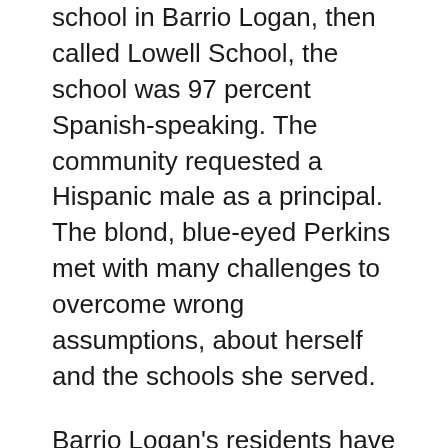school in Barrio Logan, then called Lowell School, the school was 97 percent Spanish-speaking. The community requested a Hispanic male as a principal. The blond, blue-eyed Perkins met with many challenges to overcome wrong assumptions, about herself and the schools she served.
Barrio Logan's residents have long fought against civic neglect to their neighborhood. where for many years heavy industry clashed with neighborhood safety and school success. Barrio Logan's original school was built before turn of century at 17th and Market streets. In 1940 the local school was named for James Russell Lowell.